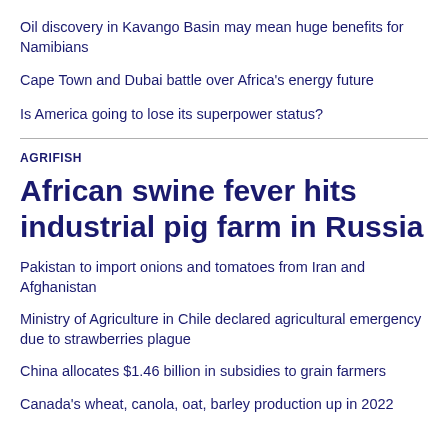Oil discovery in Kavango Basin may mean huge benefits for Namibians
Cape Town and Dubai battle over Africa's energy future
Is America going to lose its superpower status?
AGRIFISH
African swine fever hits industrial pig farm in Russia
Pakistan to import onions and tomatoes from Iran and Afghanistan
Ministry of Agriculture in Chile declared agricultural emergency due to strawberries plague
China allocates $1.46 billion in subsidies to grain farmers
Canada's wheat, canola, oat, barley production up in 2022